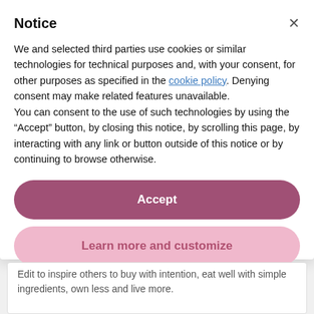Notice
We and selected third parties use cookies or similar technologies for technical purposes and, with your consent, for other purposes as specified in the cookie policy. Denying consent may make related features unavailable.
You can consent to the use of such technologies by using the “Accept” button, by closing this notice, by scrolling this page, by interacting with any link or button outside of this notice or by continuing to browse otherwise.
Accept
Learn more and customize
Edit to inspire others to buy with intention, eat well with simple ingredients, own less and live more.